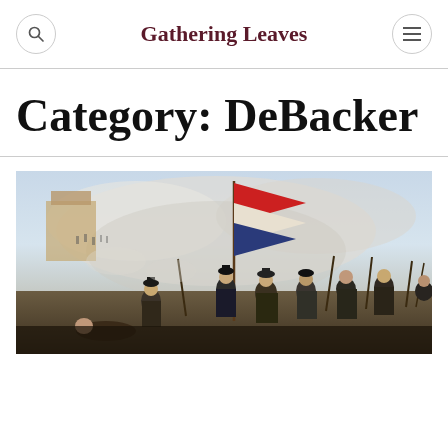Gathering Leaves
Category: DeBacker
[Figure (illustration): A Napoleonic battle scene painting showing soldiers with flags amid smoke and chaos, with a large red and white flag visible in the center and soldiers in 19th-century military uniforms.]